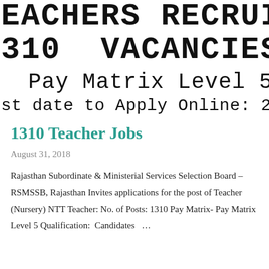EACHERS RECRUITMEN
310 VACANCIES
Pay Matrix Level 5
st date to Apply Online: 28/10/20
1310 Teacher Jobs
August 31, 2018
Rajasthan Subordinate & Ministerial Services Selection Board – RSMSSB, Rajasthan Invites applications for the post of Teacher (Nursery) NTT Teacher: No. of Posts: 1310 Pay Matrix- Pay Matrix Level 5 Qualification: Candidates …